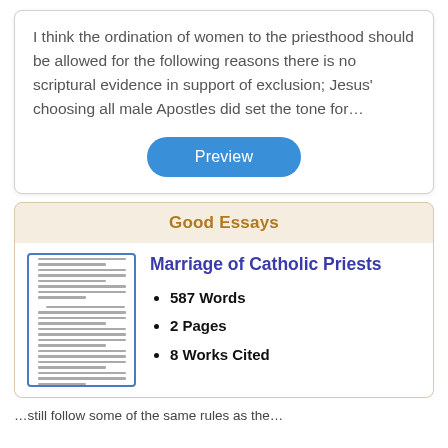I think the ordination of women to the priesthood should be allowed for the following reasons there is no scriptural evidence in support of exclusion; Jesus' choosing all male Apostles did set the tone for…
[Figure (other): Blue rounded-rectangle Preview button]
Good Essays
[Figure (illustration): Thumbnail image of an essay document page with text lines]
Marriage of Catholic Priests
587 Words
2 Pages
8 Works Cited
...still follow some of the same rules as the...